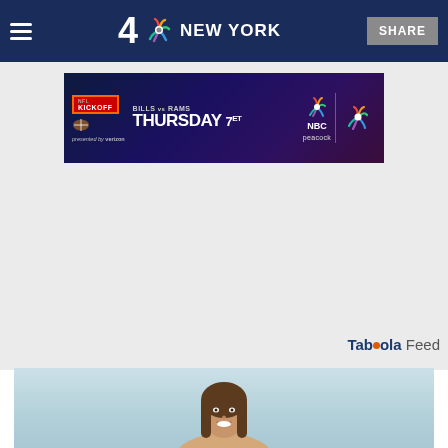4 NBC NEW YORK | SHARE
[Figure (other): NFL Kickoff ad banner: BILLS vs RAMS THURSDAY 7ET NBC Peacock, presented by verizon]
[Figure (other): Taboola Feed logo]
[Figure (photo): Woman with long brown hair smiling against a light blue/teal background, cropped at shoulders]